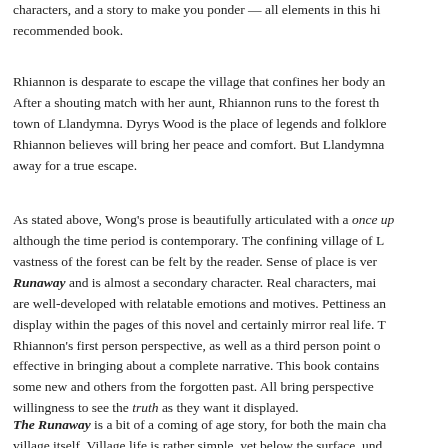characters, and a story to make you ponder — all elements in this hi recommended book.
Rhiannon is desparate to escape the village that confines her body a After a shouting match with her aunt, Rhiannon runs to the forest th town of Llandymna. Dyrys Wood is the place of legends and folklore Rhiannon believes will bring her peace and comfort. But Llandymna away for a true escape.
As stated above, Wong's prose is beautifully articulated with a once up although the time period is contemporary. The confining village of L vastness of the forest can be felt by the reader. Sense of place is ver Runaway and is almost a secondary character. Real characters, mai are well-developed with relatable emotions and motives. Pettiness a display within the pages of this novel and certainly mirror real life. T Rhiannon's first person perspective, as well as a third person point o effective in bringing about a complete narrative. This book contains some new and others from the forgotten past. All bring perspective willingness to see the truth as they want it displayed.
The Runaway is a bit of a coming of age story, for both the main cha village itself. Village life is rather simple, yet below the surface, und